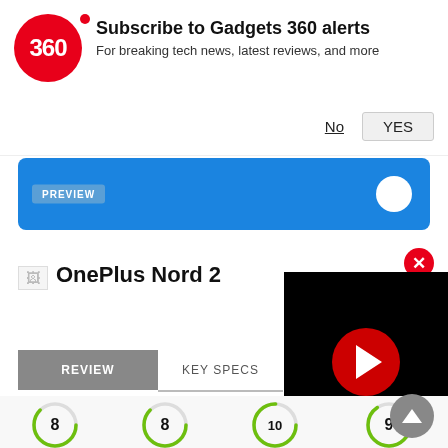[Figure (screenshot): Gadgets 360 subscription notification overlay with logo circle showing '360', title 'Subscribe to Gadgets 360 alerts', subtitle 'For breaking tech news, latest reviews, and more', and No/YES buttons]
[Figure (screenshot): Blue banner with PREVIEW badge and white circular button on the right]
OnePlus Nord 2
[Figure (screenshot): Black video player overlay with red play button circle]
[Figure (screenshot): Navigation tabs showing REVIEW (selected, grey) and KEY SPECS]
[Figure (infographic): Review score rings: Design 8, Display 8, Software 10, Performance 9]